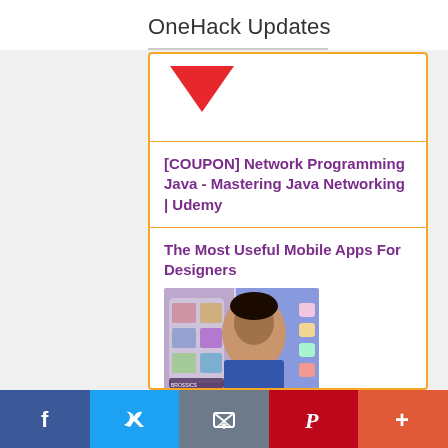OneHack Updates
[Figure (illustration): Red downward pointing triangle/arrow icon inside orange-bordered card at top]
[COUPON] Network Programming Java - Mastering Java Networking | Udemy
The Most Useful Mobile Apps For Designers
[Figure (photo): Thumbnail image showing a mobile app screen with a woman's face and design elements]
Blackhat 2022 USA All Slides | Mega Collection
Facebook | Twitter | Email | Pinterest | More